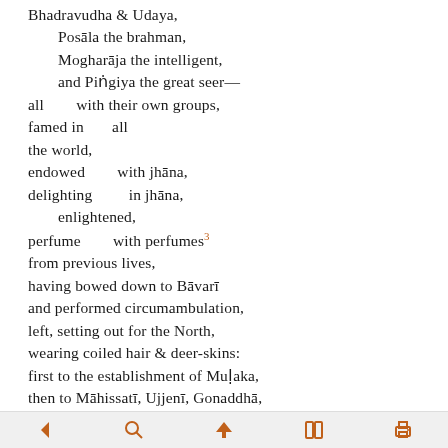Bhadravudha & Udaya, Posāla the brahman, Mogharāja the intelligent, and Piṅgiya the great seer— all with their own groups, famed in all the world, endowed with jhāna, delighting in jhāna, enlightened, perfume with perfumes³ from previous lives, having bowed down to Bāvarī and performed circumambulation, left, setting out for the North, wearing coiled hair & deer-skins: first to the establishment of Muḷaka, then to Māhissatī, Ujjenī, Gonaddhā, Vedisā, Vanasa, to Kosambī & Sāketa, to Sāvatthī, the supreme city,
navigation icons